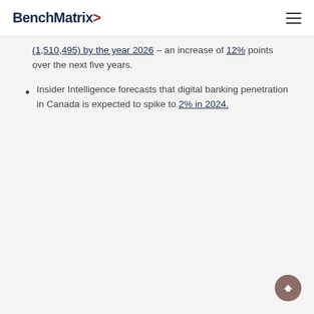BenchMatrix>
(1,510,495) by the year 2026 – an increase of 12% points over the next five years.
Insider Intelligence forecasts that digital banking penetration in Canada is expected to spike to 2% in 2024.